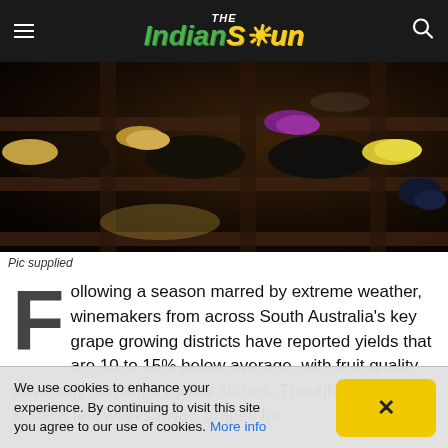The Indian Sun
[Figure (photo): Close-up photograph of wine bottles stored in a rack, showing colorful foil caps — gold, purple, and dark colors — in a dark cellar setting.]
Pic supplied
Following a season marred by extreme weather, winemakers from across South Australia's key grape growing districts have reported yields that are 10 to 15% below average, with fruit quality adversely damaged by hail storms. Though the harvest is still a few weeks away, grapes for
We use cookies to enhance your experience. By continuing to visit this site you agree to our use of cookies. More info